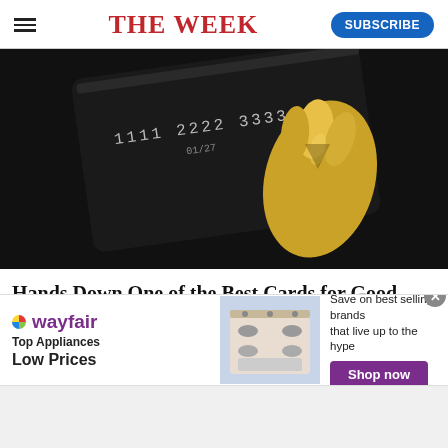THE WEEK
[Figure (photo): A golden hand holding a dark credit card with embossed numbers 1111 2222 3333 444, expiry 01/27, on a dark background.]
Hands Down One of the Best Cards for Good Credit
The Motley Fool
[Figure (infographic): Wayfair advertisement banner. Wayfair logo on the left, text 'Top Appliances Low Prices', image of a stove in the middle, and on the right 'Save on best selling brands that live up to the hype' with a purple 'Shop now' button.]